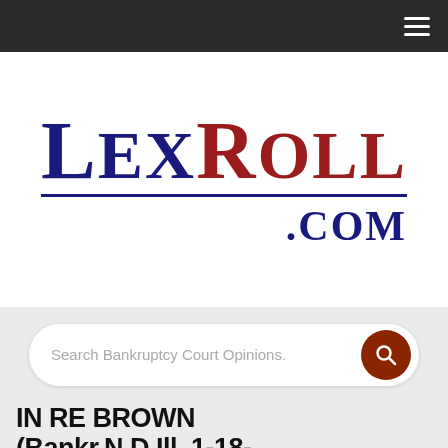[Figure (logo): LexRoll.com logo with 'Lex' in dark navy blue and 'Roll' in dark red serif font, followed by a horizontal navy underline and '.com' in navy blue]
Search Bankruptcy Court Opinions.
IN RE BROWN (Bankr.N.D.Ill. 1-18-2011)